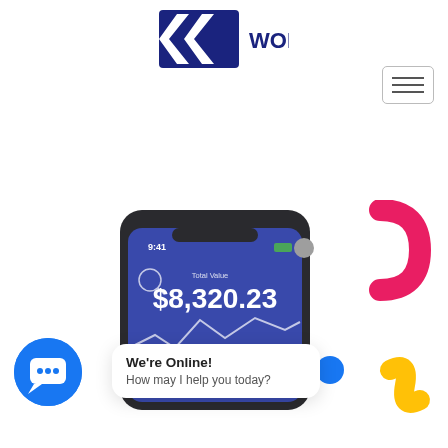[Figure (logo): WORF logo with blue arrow/chevron shapes and the text WORF]
[Figure (screenshot): Hamburger menu button (three horizontal lines) in a rounded rectangle border]
[Figure (screenshot): Smartphone showing a finance app with blue screen displaying Total Value $8,320.23 with a wave chart, and a pink hook decoration, blue dot, and yellow S decoration in the background]
We're Online!
How may I help you today?
[Figure (illustration): Blue circular chat/messaging icon with speech bubble containing dots]